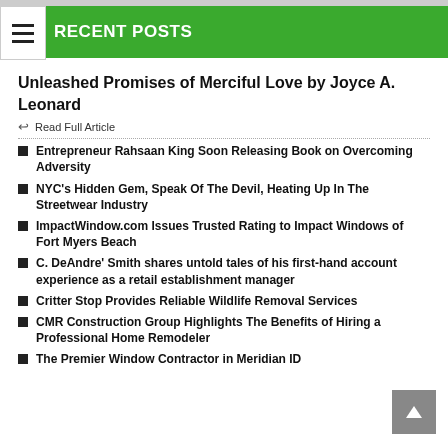RECENT POSTS
Unleashed Promises of Merciful Love by Joyce A. Leonard
Read Full Article
Entrepreneur Rahsaan King Soon Releasing Book on Overcoming Adversity
NYC's Hidden Gem, Speak Of The Devil, Heating Up In The Streetwear Industry
ImpactWindow.com Issues Trusted Rating to Impact Windows of Fort Myers Beach
C. DeAndre' Smith shares untold tales of his first-hand account experience as a retail establishment manager
Critter Stop Provides Reliable Wildlife Removal Services
CMR Construction Group Highlights The Benefits of Hiring a Professional Home Remodeler
The Premier Window Contractor in Meridian ID